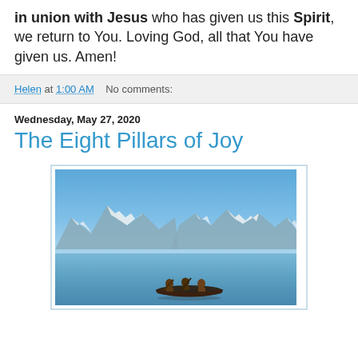in union with Jesus who has given us this Spirit, we return to You. Loving God, all that You have given us. Amen!
Helen at 1:00 AM   No comments:
Wednesday, May 27, 2020
The Eight Pillars of Joy
[Figure (photo): Three people in a canoe on a calm blue lake with snow-capped mountains in the background under a clear blue sky]